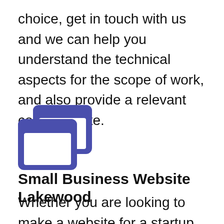choice, get in touch with us and we can help you understand the technical aspects for the scope of work, and also provide a relevant cost estimate.
[Figure (illustration): Blue icon depicting two overlapping browser/document windows, representing small business website services]
Small Business Website Lakewood
Whether you are looking to make a website for a startup or looking to build a business website from scratch, we offer a